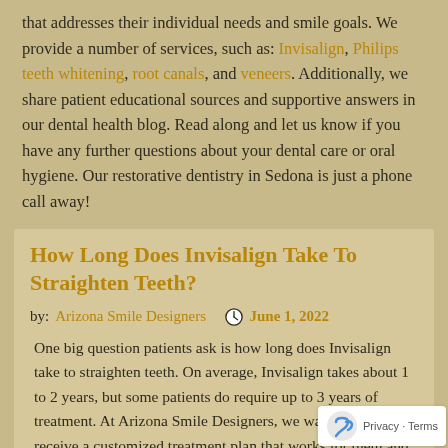that addresses their individual needs and smile goals. We provide a number of services, such as: Invisalign, Philips teeth whitening, root canals, and veneers. Additionally, we share patient educational sources and supportive answers in our dental health blog. Read along and let us know if you have any further questions about your dental care or oral hygiene. Our restorative dentistry in Sedona is just a phone call away!
How Long Does Invisalign Take To Straighten Teeth?
by: Arizona Smile Designers   June 1, 2022
One big question patients ask is how long does Invisalign take to straighten teeth. On average, Invisalign takes about 1 to 2 years, but some patients do require up to 3 years of treatment. At Arizona Smile Designers, we want everyone to receive a customized treatment plan that works for them and their needs. If … Continued